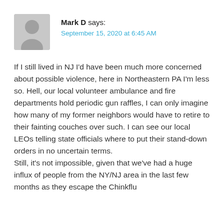[Figure (illustration): Grey avatar placeholder image of a person silhouette]
Mark D says:
September 15, 2020 at 6:45 AM
If I still lived in NJ I'd have been much more concerned about possible violence, here in Northeastern PA I'm less so. Hell, our local volunteer ambulance and fire departments hold periodic gun raffles, I can only imagine how many of my former neighbors would have to retire to their fainting couches over such. I can see our local LEOs telling state officials where to put their stand-down orders in no uncertain terms.
Still, it's not impossible, given that we've had a huge influx of people from the NY/NJ area in the last few months as they escape the Chinkflu